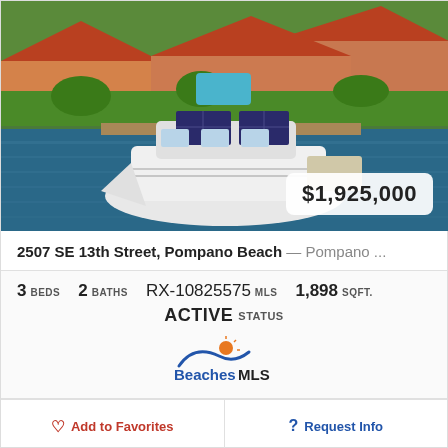[Figure (photo): Aerial photograph of a white catamaran yacht docked at a residential waterfront property in Pompano Beach, Florida. Houses with red tile roofs and green lawns visible in the background. A price badge reading $1,925,000 overlays the bottom-right corner.]
2507 SE 13th Street, Pompano Beach — Pompano ...
3 BEDS   2 BATHS   RX-10825575 MLS   1,898 SQFT.
ACTIVE STATUS
[Figure (logo): BeachesMLS logo with wave and sun graphic in blue and orange]
Add to Favorites
Request Info